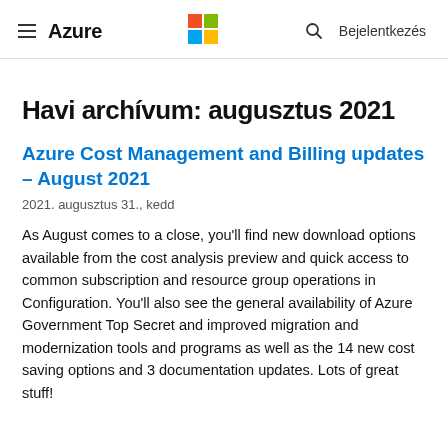≡ Azure | Microsoft logo | search | Bejelentkezés
Havi archívum: augusztus 2021
Azure Cost Management and Billing updates – August 2021
2021. augusztus 31., kedd
As August comes to a close, you'll find new download options available from the cost analysis preview and quick access to common subscription and resource group operations in Configuration. You'll also see the general availability of Azure Government Top Secret and improved migration and modernization tools and programs as well as the 14 new cost saving options and 3 documentation updates. Lots of great stuff!